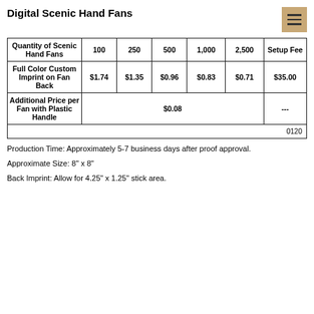Digital Scenic Hand Fans
| Quantity of Scenic Hand Fans | 100 | 250 | 500 | 1,000 | 2,500 | Setup Fee |
| --- | --- | --- | --- | --- | --- | --- |
| Full Color Custom Imprint on Fan Back | $1.74 | $1.35 | $0.96 | $0.83 | $0.71 | $35.00 |
| Additional Price per Fan with Plastic Handle | $0.08 (spans 100-2500) |  |  |  |  | --- |
|  |  |  |  |  |  | 0120 |
Production Time: Approximately 5-7 business days after proof approval.
Approximate Size: 8" x 8"
Back Imprint: Allow for 4.25" x 1.25" stick area.